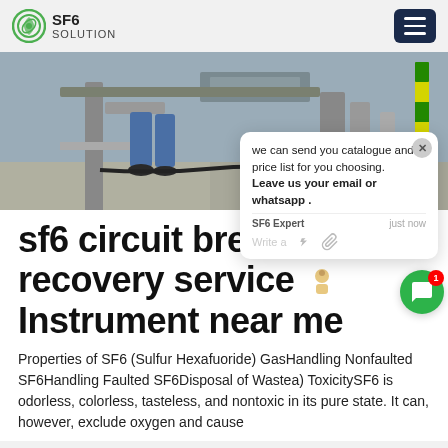SF6 SOLUTION
[Figure (photo): Industrial electrical equipment scene with a worker in blue coveralls standing near large metal structures, cables on the floor, and a yellow-green striped post in background.]
sf6 circuit breaker recovery service Instrument near me
Properties of SF6 (Sulfur Hexafuoride) GasHandling Nonfaulted SF6Handling Faulted SF6Disposal of Wastea) ToxicitySF6 is odorless, colorless, tasteless, and nontoxic in its pure state. It can, however, exclude oxygen and cause